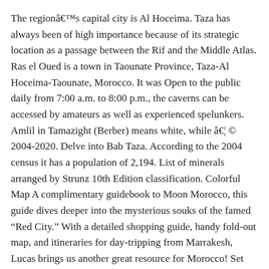The regionâs capital city is Al Hoceima. Taza has always been of high importance because of its strategic location as a passage between the Rif and the Middle Atlas. Ras el Oued is a town in Taounate Province, Taza-Al Hoceima-Taounate, Morocco. It was Open to the public daily from 7:00 a.m. to 8:00 p.m., the caverns can be accessed by amateurs as well as experienced spelunkers. Amlil in Tamazight (Berber) means white, while â¦ © 2004-2020. Delve into Bab Taza. According to the 2004 census it has a population of 2,194. List of minerals arranged by Strunz 10th Edition classification. Colorful Map A complimentary guidebook to Moon Morocco, this guide dives deeper into the mysterious souks of the famed “Red City.” With a detailed shopping guide, handy fold-out map, and itineraries for day-tripping from Marrakesh, Lucas brings us another great resource for Morocco! Set between the Rif and Middle Atlas mountain ranges, Taza served as a fort that overlooked the important Tizi n’ Touahar pass. Population, 55,200 (1971). This live webcam feed takes you to Moulay Hassan Square in the city centre of Taza, situated in the Fès-Meknès region of Morocco. Once back in Taza, you can spend the afternoon checking out the city’s fortifications and medieval buildings. Visa Requirements In Morocco, the 75 second-level